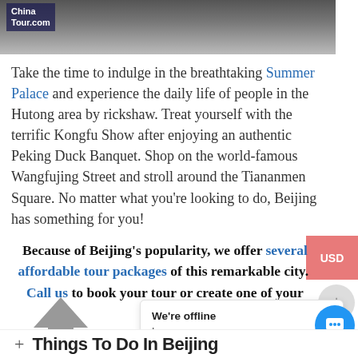[Figure (photo): Photo banner showing tourists walking, with ChinaTour.com logo overlay in top left]
Take the time to indulge in the breathtaking Summer Palace and experience the daily life of people in the Hutong area by rickshaw. Treat yourself with the terrific Kongfu Show after enjoying an authentic Peking Duck Banquet. Shop on the world-famous Wangfujing Street and stroll around the Tiananmen Square. No matter what you're looking to do, Beijing has something for you!
Because of Beijing's popularity, we offer several affordable tour packages of this remarkable city. Call us to book your tour or create one of your own!
[Figure (infographic): USD currency button (pink/red), gray plus circle button]
[Figure (infographic): Gray upward arrow icon]
[Figure (screenshot): Chat bubble popup saying 'We're offline / Leave a message', with blue chat icon]
Things To Do In Beijing